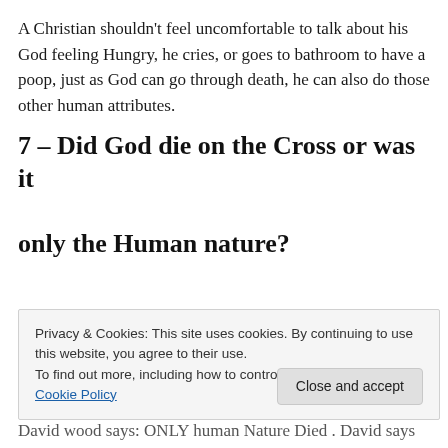A Christian shouldn't feel uncomfortable to talk about his God feeling Hungry, he cries, or goes to bathroom to have a poop, just as God can go through death, he can also do those other human attributes.
7 – Did God die on the Cross or was it only the Human nature?
Privacy & Cookies: This site uses cookies. By continuing to use this website, you agree to their use.
To find out more, including how to control cookies, see here: Cookie Policy
Close and accept
David wood says: ONLY human Nature Died . David says